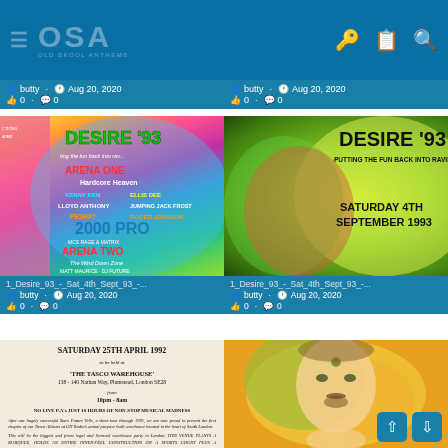OSA Old Skool Anthems - navigation header with hamburger menu and icons
[Figure (screenshot): Desire 93 rave flyer - Arena One Hardcore Heaven, Kenny Ken, Ellis Dee, Lloyd Anthony, Jumping Jack Frost, Peshay, Roger Johnson, MCs Rage & Matrix, Arena Two The Wind Down Zone, Matt Maurice, DJ Future, Tommy Cockles, DJ Bags]
[Figure (screenshot): Desire 93 rave flyer - Putting the fun back into raving! Saturday 4th September 1993]
[Figure (screenshot): Tasco Warehouse flyer - Saturday 25th April 1992, 138-140 Nathan Way, Plumstead, London SE28, 10pm-8am, No live PAs just 10 hours of non-stop musical madness, DJs: Adrian Age, Kenny Ken, Vinyl Matt, Bily Bunter, East Mo, DJ Brett, Roger Johnson, Jason Anthony]
[Figure (illustration): Psychedelic portrait illustration of a face with green and yellow tones]